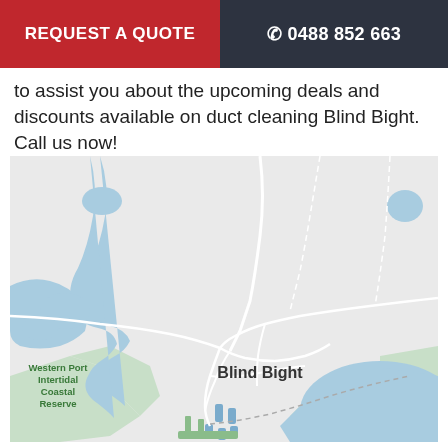REQUEST A QUOTE   0488 852 663
to assist you about the upcoming deals and discounts available on duct cleaning Blind Bight. Call us now!
[Figure (map): Google Maps view of Blind Bight area showing Western Port Intertidal Coastal Reserve, waterways, roads and the label 'Blind Bight']